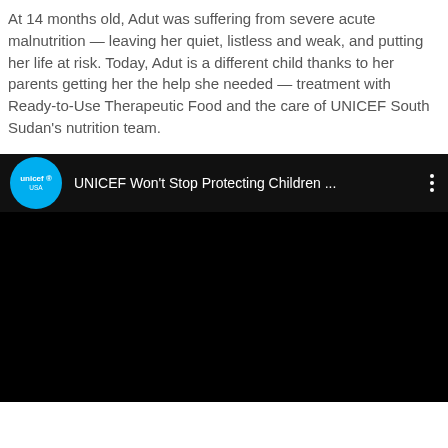At 14 months old, Adut was suffering from severe acute malnutrition — leaving her quiet, listless and weak, and putting her life at risk. Today, Adut is a different child thanks to her parents getting her the help she needed — treatment with Ready-to-Use Therapeutic Food and the care of UNICEF South Sudan's nutrition team.
[Figure (screenshot): YouTube video embed showing a dark/black video player with UNICEF USA channel logo (cyan circle) and title 'UNICEF Won't Stop Protecting Children ...' on a dark header bar with a three-dot menu icon.]